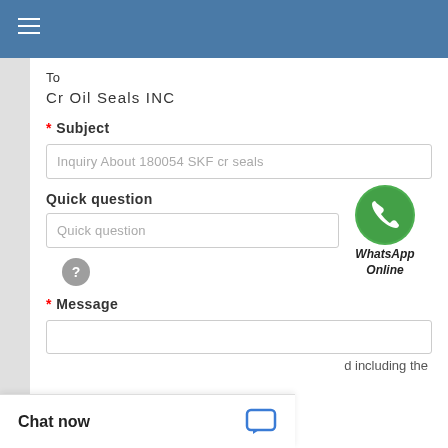[Figure (screenshot): Blue navigation top bar with hamburger menu icon (three horizontal white lines)]
To
Cr Oil Seals INC
* Subject
Inquiry About 180054 SKF cr seals
Quick question
[Figure (logo): WhatsApp green circular icon with phone handset, labeled 'WhatsApp Online' in italic bold text]
Quick question
?
* Message
d including the
Chat now